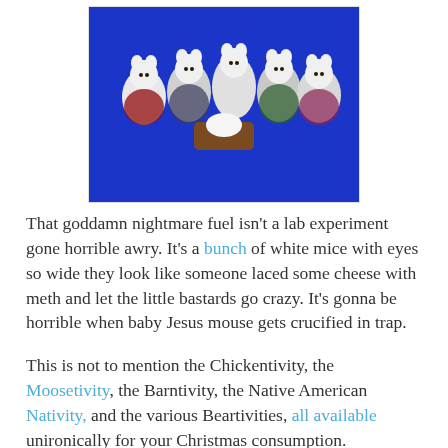[Figure (photo): A group of white mouse figurines dressed in nativity costumes arranged on a blue background, depicting a nativity scene.]
That goddamn nightmare fuel isn't a lab experiment gone horrible awry. It's a bunch of white mice with eyes so wide they look like someone laced some cheese with meth and let the little bastards go crazy. It's gonna be horrible when baby Jesus mouse gets crucified in trap.
This is not to mention the Chickentivity, the Moosetivity, the Barntivity, the Native American Nativity, and the various Beartivities, all available unironically for your Christmas consumption.
And then there's the baby nativity: